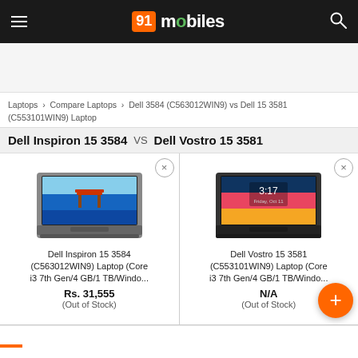91mobiles
Laptops › Compare Laptops › Dell 3584 (C563012WIN9) vs Dell 15 3581 (C553101WIN9) Laptop
Dell Inspiron 15 3584 VS Dell Vostro 15 3581
[Figure (screenshot): Dell Inspiron 15 3584 laptop product image showing a laptop with a scenic wallpaper on screen]
Dell Inspiron 15 3584 (C563012WIN9) Laptop (Core i3 7th Gen/4 GB/1 TB/Windo...
Rs. 31,555
(Out of Stock)
[Figure (screenshot): Dell Vostro 15 3581 laptop product image showing a black laptop with time display on screen]
Dell Vostro 15 3581 (C553101WIN9) Laptop (Core i3 7th Gen/4 GB/1 TB/Windo...
N/A
(Out of Stock)